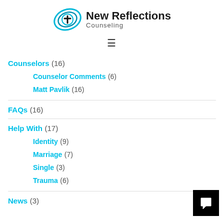[Figure (logo): New Reflections Counseling logo with teal circular icon containing a cross, and bold text 'New Reflections Counseling']
Counselors (16)
Counselor Comments (6)
Matt Pavlik (16)
FAQs (16)
Help With (17)
Identity (9)
Marriage (7)
Single (3)
Trauma (6)
News (3)